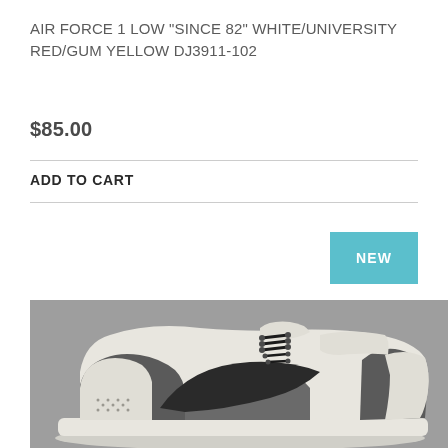AIR FORCE 1 LOW "SINCE 82" WHITE/UNIVERSITY RED/GUM YELLOW DJ3911-102
$85.00
ADD TO CART
NEW
[Figure (photo): Nike Air Force 1 Low sneaker in white/cream with dark gray and black colorway, shown from the side against a gray background]